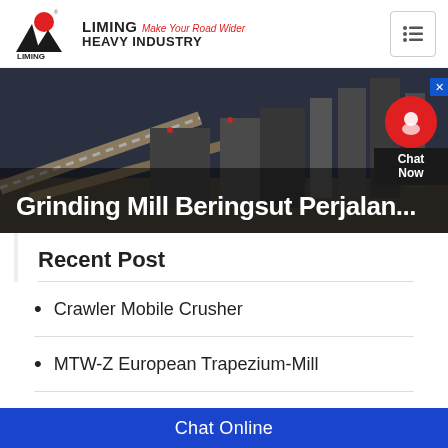[Figure (logo): Liming Heavy Industry logo with red circle and black triangular shapes, brand name and tagline 'Make Your Road Wider']
[Figure (photo): Industrial mining/crushing plant machinery photographed outdoors with conveyor belts and silos against a dark sky]
Grinding Mill Beringsut Perjalan...
Recent Post
Crawler Mobile Crusher
MTW-Z European Trapezium-Mill
K Series Mobile Crushing Plant
Chat Online